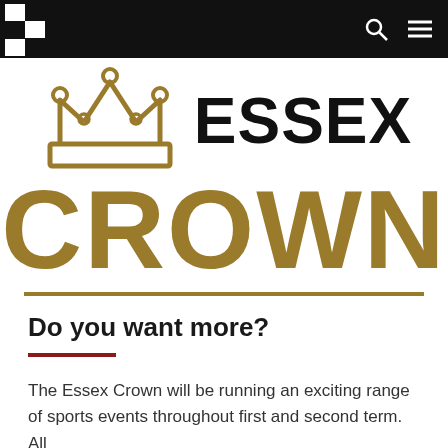Essex Crown navigation bar
[Figure (logo): Essex Crown logo with gold crown SVG icon, bold black text ESSEX, large gold bold text CROWN, and a gold horizontal rule beneath]
Do you want more?
The Essex Crown will be running an exciting range of sports events throughout first and second term. All